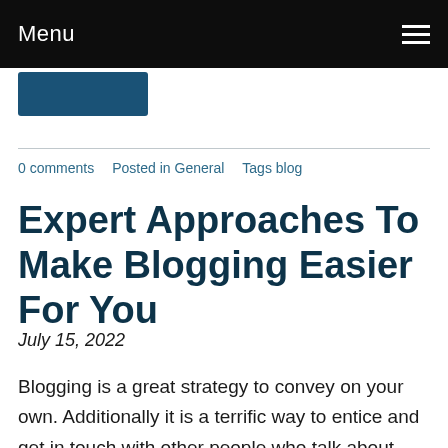Menu
[Figure (other): Dark blue rectangular button placeholder]
0 comments   Posted in General   Tags blog
Expert Approaches To Make Blogging Easier For You
July 15, 2022
Blogging is a great strategy to convey on your own. Additionally it is a terrific way to entice and get in touch with other people who talk about related likes and dislikes. check out your url might start up a website to have your ideas and viewpoints around,